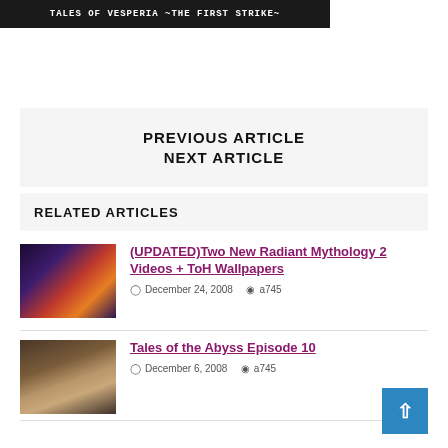[Figure (screenshot): Dark banner with text TALES OF VESPERIA ~THE FIRST STRIKE~]
PREVIOUS ARTICLE
NEXT ARTICLE
RELATED ARTICLES
[Figure (screenshot): Thumbnail image from Radiant Mythology 2 article showing dark game scene with fire]
(UPDATED)Two New Radiant Mythology 2 Videos + ToH Wallpapers
December 24, 2008  a745
[Figure (screenshot): Thumbnail image for Tales of the Abyss Episode 10 showing a female character]
Tales of the Abyss Episode 10
December 6, 2008  a745